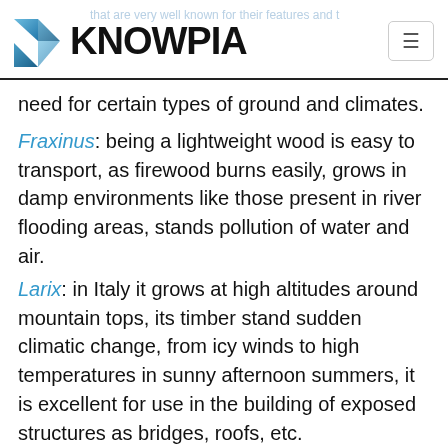KNOWPIA
that are very well known for their features and the need for certain types of ground and climates.
Fraxinus: being a lightweight wood is easy to transport, as firewood burns easily, grows in damp environments like those present in river flooding areas, stands pollution of water and air.
Larix: in Italy it grows at high altitudes around mountain tops, its timber stand sudden climatic change, from icy winds to high temperatures in sunny afternoon summers, it is excellent for use in the building of exposed structures as bridges, roofs, etc.
Stone pine: "Mediterranean pine" could be the noble emblem of many coastal areas in Italy, originally giant forests of pines extended from the mouth of the river until Liguria and Provence in France, over soils